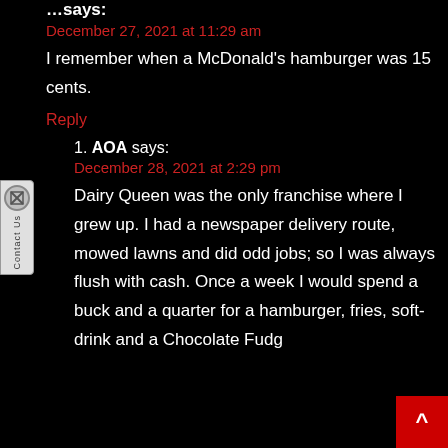…says:
December 27, 2021 at 11:29 am
I remember when a McDonald's hamburger was 15 cents.
Reply
AOA says:
December 28, 2021 at 2:29 pm
Dairy Queen was the only franchise where I grew up. I had a newspaper delivery route, mowed lawns and did odd jobs; so I was always flush with cash. Once a week I would spend a buck and a quarter for a hamburger, fries, soft-drink and a Chocolate Fudg